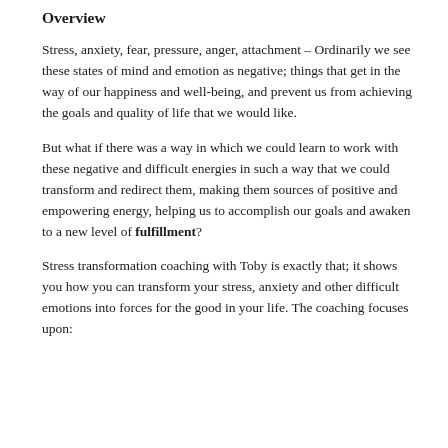Overview
Stress, anxiety, fear, pressure, anger, attachment – Ordinarily we see these states of mind and emotion as negative; things that get in the way of our happiness and well-being, and prevent us from achieving the goals and quality of life that we would like.
But what if there was a way in which we could learn to work with these negative and difficult energies in such a way that we could transform and redirect them, making them sources of positive and empowering energy, helping us to accomplish our goals and awaken to a new level of fulfillment?
Stress transformation coaching with Toby is exactly that; it shows you how you can transform your stress, anxiety and other difficult emotions into forces for the good in your life. The coaching focuses upon: